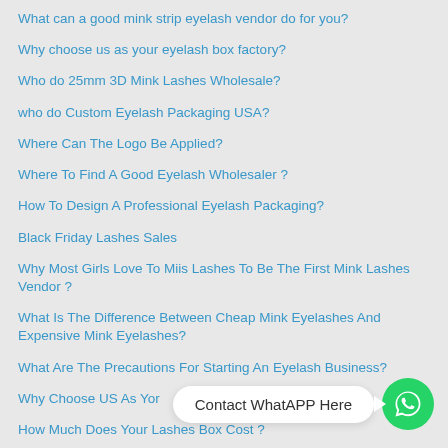What can a good mink strip eyelash vendor do for you?
Why choose us as your eyelash box factory?
Who do 25mm 3D Mink Lashes Wholesale?
who do Custom Eyelash Packaging USA?
Where Can The Logo Be Applied?
Where To Find A Good Eyelash Wholesaler ?
How To Design A Professional Eyelash Packaging?
Black Friday Lashes Sales
Why Most Girls Love To Miis Lashes To Be The First Mink Lashes Vendor ?
What Is The Difference Between Cheap Mink Eyelashes And Expensive Mink Eyelashes?
What Are The Precautions For Starting An Eyelash Business?
Why Choose US As Yo...
How Much Does Your Lashes Box Cost ?
[Figure (infographic): WhatsApp contact button with bubble saying 'Contact WhatAPP Here' and green WhatsApp icon]